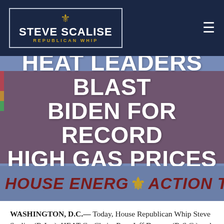STEVE SCALISE REPUBLICAN WHIP
HEAT LEADERS BLAST BIDEN FOR RECORD HIGH GAS PRICES
[Figure (illustration): Banner image showing HEAT Leaders Blast Biden For Record High Gas Prices headline overlaid on a blurred gas price sign background, with House Energy Action Team strip at the bottom]
WASHINGTON, D.C.— Today, House Republican Whip Steve Scalise (R-La.), HEAT Co-Chairs Rep. Jeff Duncan (R-S.C.) and Rep. Markwayne Mullin (R-